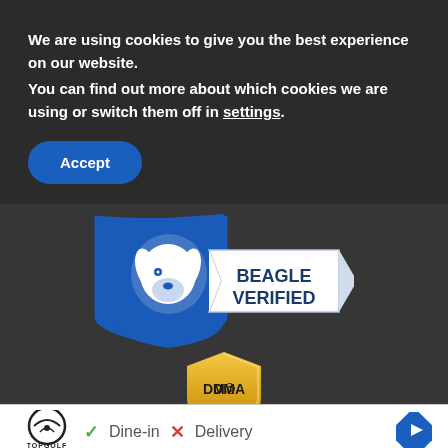We are using cookies to give you the best experience on our website.
You can find out more about which cookies we are using or switch them off in settings.
Accept
[Figure (logo): Beagle Verified badge — blue shield with beagle dog head logo and a white ribbon banner reading BEAGLE VERIFIED in dark blue bold text]
[Figure (logo): DMCA.com protection badge — gold/yellow shield shape with DMCA.com text in black]
[Figure (screenshot): Advertisement section showing Topgolf logo with green checkmark Dine-in and red X Delivery text, plus navigation arrow icon and play/close icon buttons below]